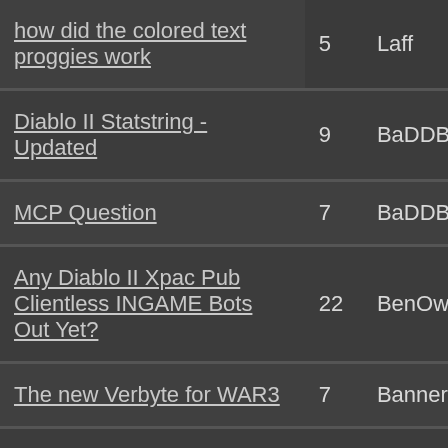| Topic | Replies | Author |
| --- | --- | --- |
| how did the colored text proggies work | 5 | Laff |
| Diablo II Statstring - Updated | 9 | BaDDBLo(cut) |
| MCP Question | 7 | BaDDBLo(cut) |
| Any Diablo II Xpac Pub Clientless INGAME Bots Out Yet? | 22 | BenOwns |
| The new Verbyte for WAR3 | 7 | Banner |
| in game packet 0x06 | 11 | Laff |
| sending text to warcraftiii | 24 | Laff |
| Channel Flags? | 12 | BaDDBLo(cut) |